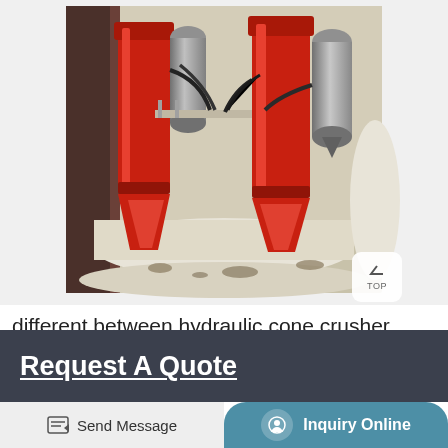[Figure (photo): Industrial hydraulic cone crusher components — two red hydraulic cylinders with grey accumulators mounted on a white cone crusher base, with black hoses connecting them. Industrial workshop setting.]
different between hydraulic cone crusher spring cone crusher
Request A Quote